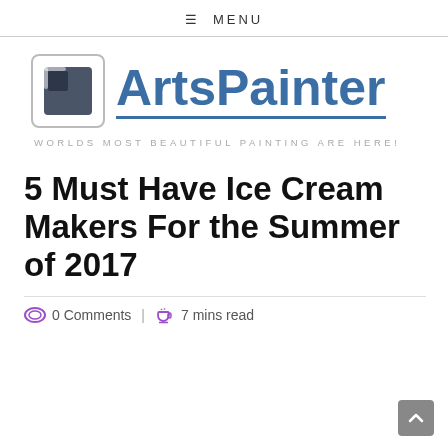☰ MENU
[Figure (logo): ArtsPainter logo with square icon and bold blue text, underlined. Tagline: WORLDS MOST BEAUTIFUL PAINTING ARE HERE!]
5 Must Have Ice Cream Makers For the Summer of 2017
0 Comments | 7 mins read